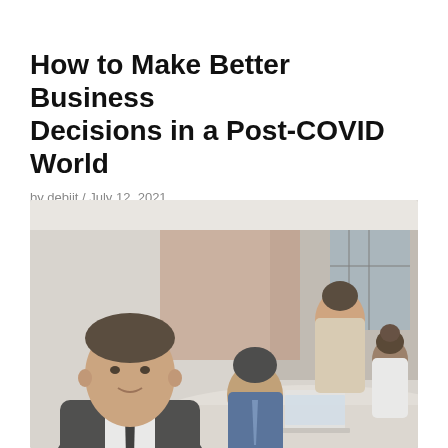How to Make Better Business Decisions in a Post-COVID World
by debjit / July 12, 2021
[Figure (photo): Business professional in dark suit and tie seated at a conference table in the foreground, smiling at camera, with colleagues in the background in a modern office setting. A woman in beige blazer stands behind, a man in blue suit is seated, and another woman in white top is to the right, with a laptop on the table.]